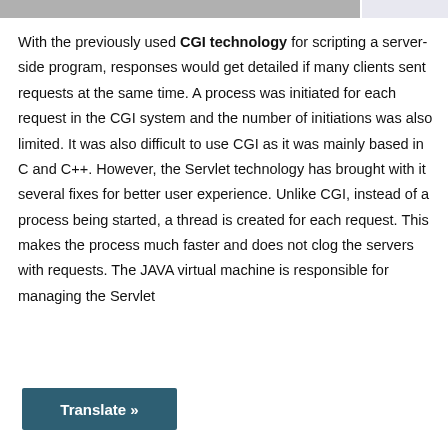With the previously used CGI technology for scripting a server-side program, responses would get detailed if many clients sent requests at the same time. A process was initiated for each request in the CGI system and the number of initiations was also limited. It was also difficult to use CGI as it was mainly based in C and C++. However, the Servlet technology has brought with it several fixes for better user experience. Unlike CGI, instead of a process being started, a thread is created for each request. This makes the process much faster and does not clog the servers with requests. The JAVA virtual machine is responsible for managing the Servlet
Translate »